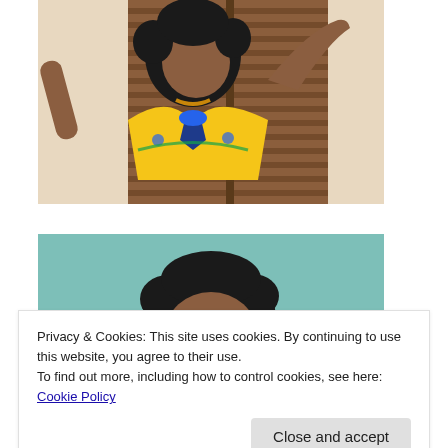[Figure (photo): A woman wearing a yellow and blue African dashiki print top, with natural curly hair, posing against wooden shuttered doors, one arm raised touching the door.]
[Figure (photo): A woman with natural curly hair photographed against a teal/mint background, partially visible, wearing a yellow African print top.]
Privacy & Cookies: This site uses cookies. By continuing to use this website, you agree to their use.
To find out more, including how to control cookies, see here: Cookie Policy
Close and accept